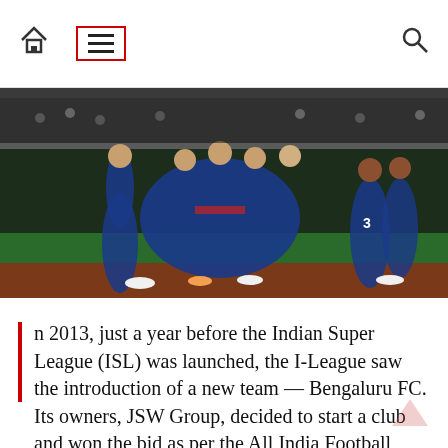Navigation bar with home icon, menu (hamburger) icon, and search icon
[Figure (photo): Football players in blue uniforms celebrating on a pitch at night, group huddle on the field]
n 2013, just a year before the Indian Super League (ISL) was launched, the I-League saw the introduction of a new team — Bengaluru FC. Its owners, JSW Group, decided to start a club and won the bid as per the All India Football Federation's idea of expansion of the national league by including a corporate team.
While most didn't think much about it as many clubs were being disbanded at that point, the owners quietly